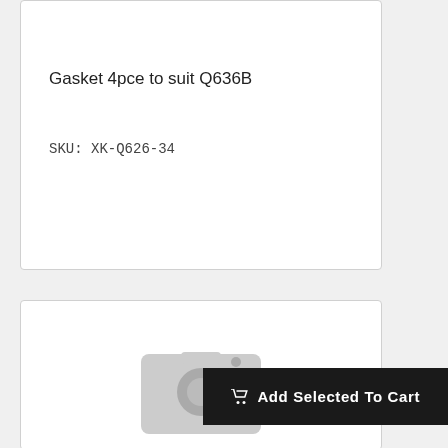Gasket 4pce to suit Q636B
SKU: XK-Q626-34
[Figure (screenshot): E-commerce product listing card with placeholder camera icon image]
Add Selected To Cart